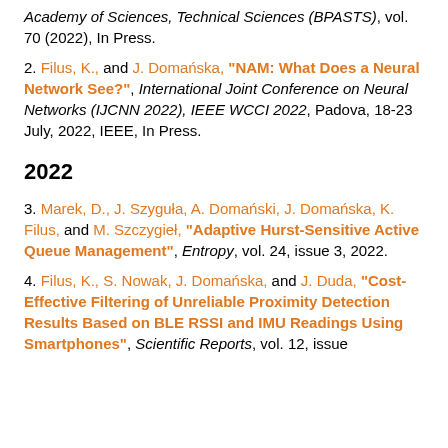Academy of Sciences, Technical Sciences (BPASTS), vol. 70 (2022), In Press.
2. Filus, K., and J. Domańska, "NAM: What Does a Neural Network See?", International Joint Conference on Neural Networks (IJCNN 2022), IEEE WCCI 2022, Padova, 18-23 July, 2022, IEEE, In Press.
2022
3. Marek, D., J. Szyguła, A. Domański, J. Domańska, K. Filus, and M. Szczygieł, "Adaptive Hurst-Sensitive Active Queue Management", Entropy, vol. 24, issue 3, 2022.
4. Filus, K., S. Nowak, J. Domańska, and J. Duda, "Cost-Effective Filtering of Unreliable Proximity Detection Results Based on BLE RSSI and IMU Readings Using Smartphones", Scientific Reports, vol. 12, issue